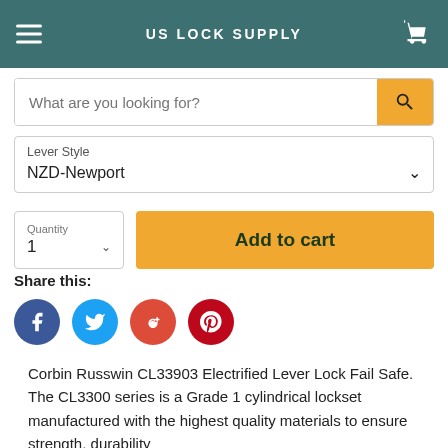US LOCK SUPPLY
What are you looking for?
Lever Style
NZD-Newport
Quantity
1
Add to cart
Share this:
Corbin Russwin CL33903 Electrified Lever Lock Fail Safe. The CL3300 series is a Grade 1 cylindrical lockset manufactured with the highest quality materials to ensure strength, durability